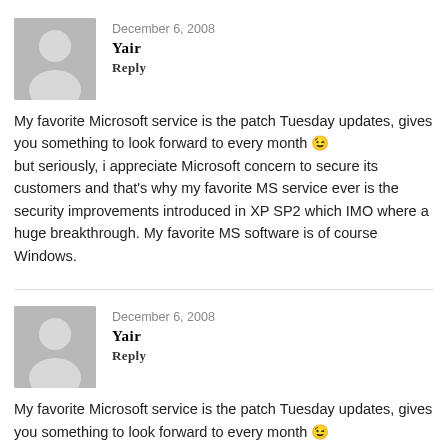December 6, 2008
Yair
Reply
My favorite Microsoft service is the patch Tuesday updates, gives you something to look forward to every month 😉 but seriously, i appreciate Microsoft concern to secure its customers and that's why my favorite MS service ever is the security improvements introduced in XP SP2 which IMO where a huge breakthrough. My favorite MS software is of course Windows.
December 6, 2008
Yair
Reply
My favorite Microsoft service is the patch Tuesday updates, gives you something to look forward to every month 😉